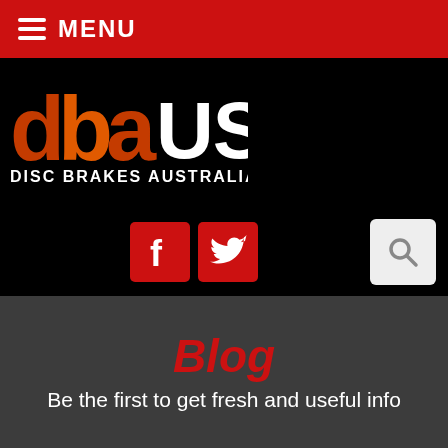MENU
[Figure (logo): DBA USA - Disc Brakes Australia logo on black background with Facebook, Twitter and search icons]
Blog
Be the first to get fresh and useful info